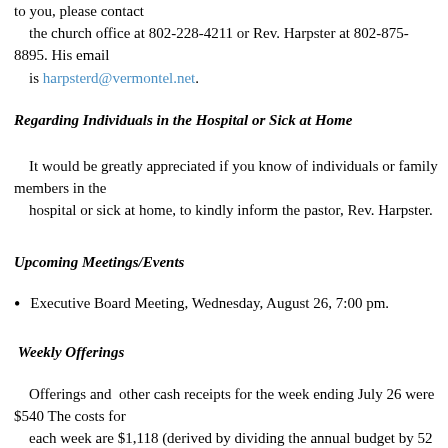to you, please contact the church office at 802-228-4211 or Rev. Harpster at 802-875-8895. His email is harpsterd@vermontel.net.
Regarding Individuals in the Hospital or Sick at Home
It would be greatly appreciated if you know of individuals or family members in the hospital or sick at home, to kindly inform the pastor, Rev. Harpster.
Upcoming Meetings/Events
Executive Board Meeting, Wednesday, August 26, 7:00 pm.
Weekly Offerings
Offerings and other cash receipts for the week ending July 26 were $540 The costs for each week are $1,118 (derived by dividing the annual budget by 52